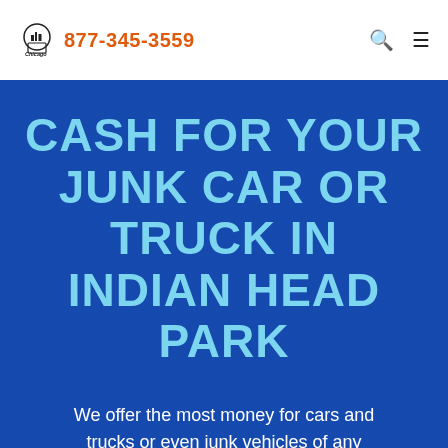877-345-3559
CASH FOR YOUR JUNK CAR OR TRUCK IN INDIAN HEAD PARK
We offer the most money for cars and trucks or even junk vehicles of any